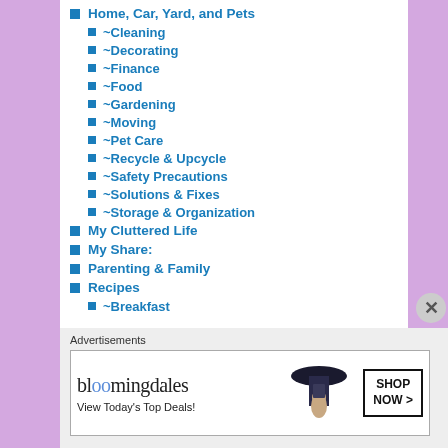Home, Car, Yard, and Pets
~Cleaning
~Decorating
~Finance
~Food
~Gardening
~Moving
~Pet Care
~Recycle & Upcycle
~Safety Precautions
~Solutions & Fixes
~Storage & Organization
My Cluttered Life
My Share:
Parenting & Family
Recipes
~Breakfast
Advertisements
[Figure (other): Bloomingdale's advertisement banner: 'bloomingdales View Today's Top Deals!' with a woman in a hat and 'SHOP NOW >' button]